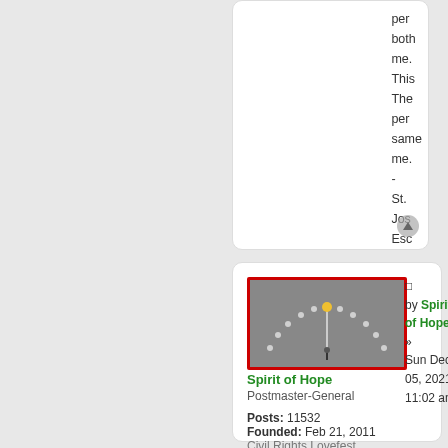per
both
me.
This
The
per
same
me.
-
St.
Jos
Esc
[Figure (screenshot): Forum post card for user Spirit of Hope showing avatar image (gauge/speedometer graphic with red borders on gray background), username, role, post count, founded date, and group]
by Spirit of Hope » Sun Dec 05, 2021 11:02 am
Spirit of Hope
Postmaster-General
Posts: 11532
Founded: Feb 21, 2011
Civil Rights Lovefest